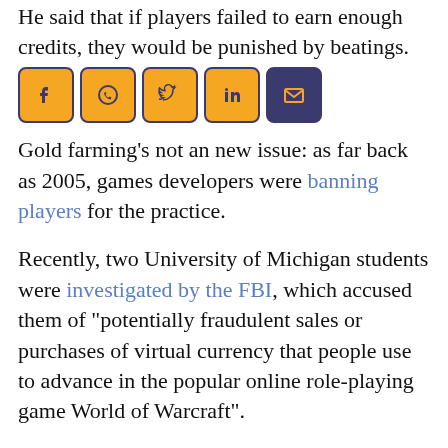He said that if players failed to earn enough credits, they would be punished by beatings.
[Figure (infographic): Social media sharing icons row: Facebook, WhatsApp, Twitter, LinkedIn, Email — orange/amber background with dark navy border]
Gold farming’s not an new issue: as far back as 2005, games developers were banning players for the practice.
Recently, two University of Michigan students were investigated by the FBI, which accused them of “potentially fraudulent sales or purchases of virtual currency that people use to advance in the popular online role-playing game World of Warcraft”.
But it seems the practice has now become big